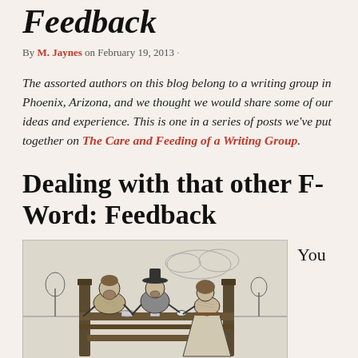Feedback
By M. Jaynes on February 19, 2013 ·
The assorted authors on this blog belong to a writing group in Phoenix, Arizona, and we thought we would share some of our ideas and experience. This is one in a series of posts we've put together on The Care and Feeding of a Writing Group.
Dealing with that other F-Word: Feedback
[Figure (illustration): A vintage engraving-style illustration showing three figures seated at a table or stocks-like structure, appearing to play cards or exchange objects. One figure faces left with beard, one center wears a hat, one on right with long dress/robe. Background has sketched landscape.]
You